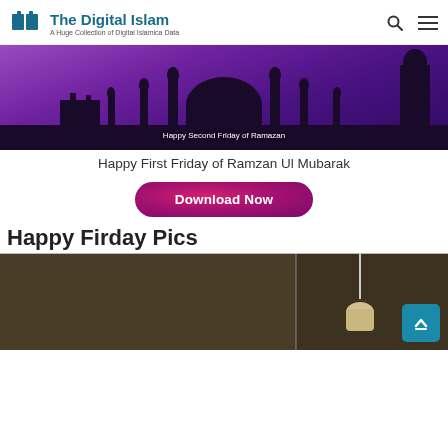The Digital Islam — A Huge Collection of Digital Islamica Data
[Figure (photo): Purple-toned mosque silhouette image with text 'Happy Second Friday of Ramazan']
Happy First Friday of Ramzan Ul Mubarak
Download Now
Happy Firday Pics
[Figure (photo): Dark brown/olive toned image showing a room with hanging lamp, split into two panels]